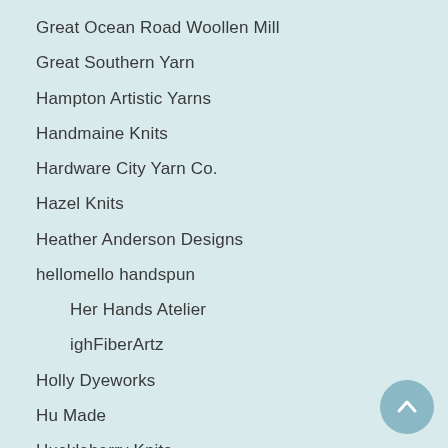Great Ocean Road Woollen Mill
Great Southern Yarn
Hampton Artistic Yarns
Handmaine Knits
Hardware City Yarn Co.
Hazel Knits
Heather Anderson Designs
hellomello handspun
Her Hands Atelier
ighFiberArtz
Holly Dyeworks
Hu Made
Huckleberry Knits
Humble Pie Design
Inner Yarn Zen
Into The Whirled
Invictus Yarns
jeLaineYarns